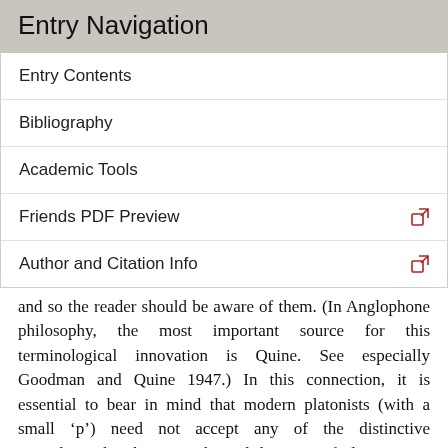Entry Navigation
Entry Contents
Bibliography
Academic Tools
Friends PDF Preview
Author and Citation Info
and so the reader should be aware of them. (In Anglophone philosophy, the most important source for this terminological innovation is Quine. See especially Goodman and Quine 1947.) In this connection, it is essential to bear in mind that modern platonists (with a small ‘p’) need not accept any of the distinctive metaphysical and epistemological doctrines of Plato, just as modern nominalists need not accept the distinctive doctrines of the medieval Nominalists. Insofar as these terms are useful in a contemporary setting, they stand for thin doctrines: platonism is the thesis that there is at least